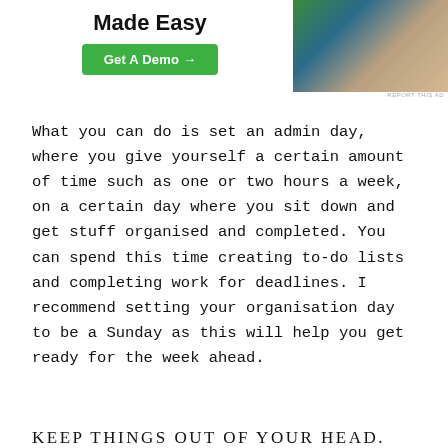[Figure (photo): Advertisement banner with bold title 'Made Easy', a green 'Get A Demo →' button on the left, and a photo of a person on the right. Small 'REPORT THIS AD' text below photo.]
What you can do is set an admin day, where you give yourself a certain amount of time such as one or two hours a week, on a certain day where you sit down and get stuff organised and completed. You can spend this time creating to-do lists and completing work for deadlines. I recommend setting your organisation day to be a Sunday as this will help you get ready for the week ahead.
KEEP THINGS OUT OF YOUR HEAD.